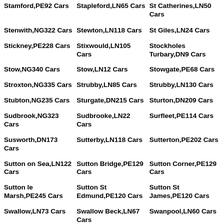Stamford,PE92 Cars
Stapleford,LN65 Cars
St Catherines,LN50 Cars
Stenwith,NG322 Cars
Stewton,LN118 Cars
St Giles,LN24 Cars
Stickney,PE228 Cars
Stixwould,LN105 Cars
Stockholes Turbary,DN9 Cars
Stow,NG340 Cars
Stow,LN12 Cars
Stowgate,PE68 Cars
Stroxton,NG335 Cars
Strubby,LN85 Cars
Strubby,LN130 Cars
Stubton,NG235 Cars
Sturgate,DN215 Cars
Sturton,DN209 Cars
Sudbrook,NG323 Cars
Sudbrooke,LN22 Cars
Surfleet,PE114 Cars
Susworth,DN173 Cars
Sutterby,LN118 Cars
Sutterton,PE202 Cars
Sutton on Sea,LN122 Cars
Sutton Bridge,PE129 Cars
Sutton Corner,PE129 Cars
Sutton le Marsh,PE245 Cars
Sutton St Edmund,PE120 Cars
Sutton St James,PE120 Cars
Swallow,LN73 Cars
Swallow Beck,LN67 Cars
Swanpool,LN60 Cars
Swaton,NG340 Cars
Swayfield,NG334 Cars
Swinderby,LN69 Cars
Swineshead
Swinethorpe,NG237
Swinborpe,LN95 Cars